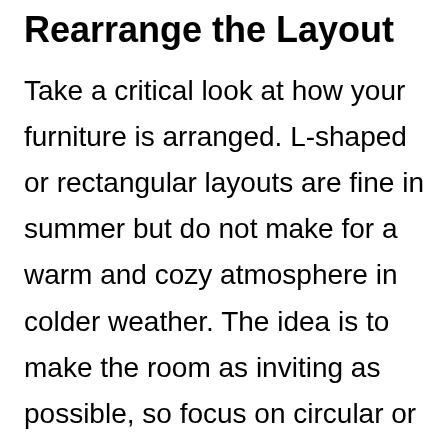Rearrange the Layout
Take a critical look at how your furniture is arranged. L-shaped or rectangular layouts are fine in summer but do not make for a warm and cozy atmosphere in colder weather. The idea is to make the room as inviting as possible, so focus on circular or even hexagonal layouts. If you have the sofas and chairs pushed back against walls, your room will look more like a